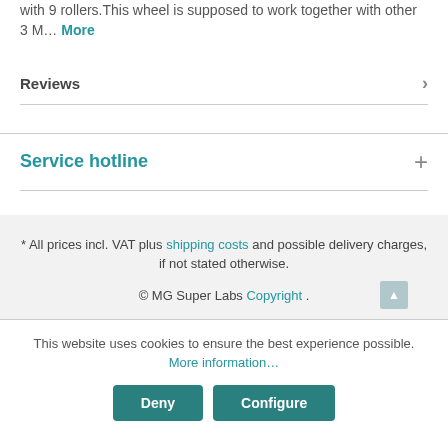...This is a piece of (1 inch) 10mm left mountain wheel with 9 rollers.This wheel is supposed to work together with other 3 M... More
Reviews
Service hotline
* All prices incl. VAT plus shipping costs and possible delivery charges, if not stated otherwise.
© MG Super Labs Copyright .
This website uses cookies to ensure the best experience possible. More information...